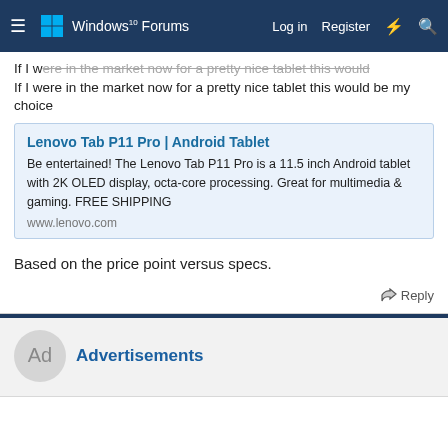Windows 10 Forums — Log in  Register
If I were in the market now for a pretty nice tablet this would be my choice
[Figure (other): Advertisement box for Lenovo Tab P11 Pro Android Tablet with link and description]
Based on the price point versus specs.
Reply
Advertisements